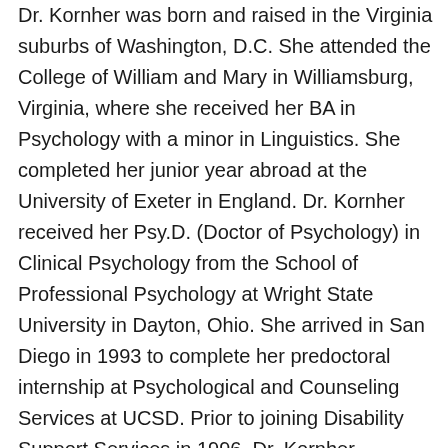Dr. Kornher was born and raised in the Virginia suburbs of Washington, D.C. She attended the College of William and Mary in Williamsburg, Virginia, where she received her BA in Psychology with a minor in Linguistics. She completed her junior year abroad at the University of Exeter in England. Dr. Kornher received her Psy.D. (Doctor of Psychology) in Clinical Psychology from the School of Professional Psychology at Wright State University in Dayton, Ohio. She arrived in San Diego in 1993 to complete her predoctoral internship at Psychological and Counseling Services at UCSD. Prior to joining Disability Support Services in 1996, Dr. Kornher completed a postdoctoral internship for the L.A. County Sheriff's Department and also practiced at Scripps Hospitals and Vista Balboa Crisis Center. She was awarded tenure at Cal State San Marcos in July, 2000. In addition to her primary role in Disability Support Services, Dr. Kornher provides supervision for doctoral level psychology interns in Student Health and Counseling Services. She coordinates